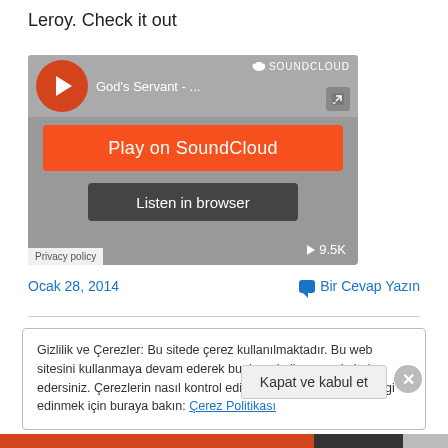Leroy. Check it out
[Figure (screenshot): SoundCloud embedded player widget showing God's Servant track with Play on SoundCloud button and Listen in browser option. Play count shows 9.5K. Privacy policy link visible.]
Ocak 28, 2014
Bir Cevap Yazın
Gizlilik ve Çerezler: Bu sitede çerez kullanılmaktadır. Bu web sitesini kullanmaya devam ederek bunların kullanımını kabul edersiniz. Çerezlerin nasıl kontrol edileceği dahil, daha fazla bilgi edinmek için buraya bakın: Çerez Politikası
Kapat ve kabul et